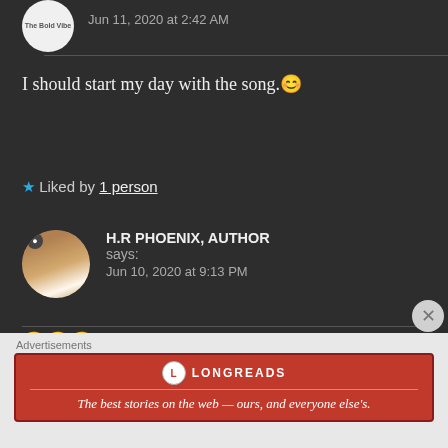Jun 11, 2020 at 2:42 AM
I should start my day with the song.😊
★ Liked by 1 person
H.R PHOENIX, AUTHOR says:
Jun 10, 2020 at 9:13 PM
🤗🤗🤗Yessss
★ Liked by 1 person
Advertisements
[Figure (logo): Longreads advertisement banner with logo and tagline: The best stories on the web — ours, and everyone else's.]